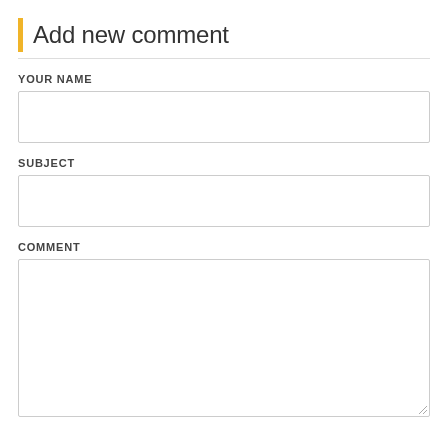Add new comment
YOUR NAME
SUBJECT
COMMENT